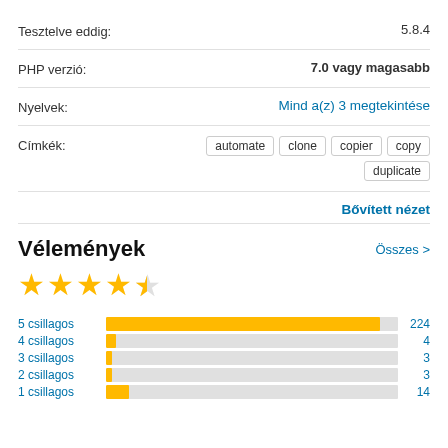Tesztelve eddig: 5.8.4
PHP verzió: 7.0 vagy magasabb
Nyelvek: Mind a(z) 3 megtekintése
Címkék: automate clone copier copy duplicate
Bővített nézet
Vélemények
[Figure (other): 4.5 star rating shown with star icons]
[Figure (bar-chart): Ratings distribution]